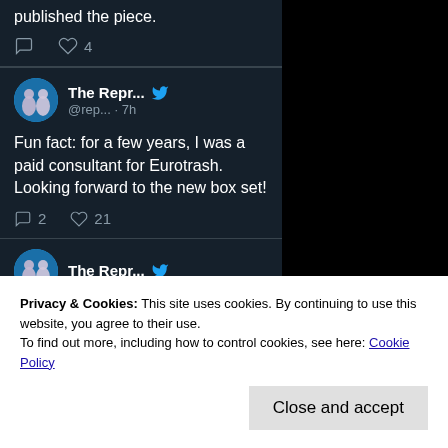published the piece.
♡ 4
The Repr... @rep... · 7h
Fun fact: for a few years, I was a paid consultant for Eurotrash. Looking forward to the new box set!
2 replies, 21 likes
The Repr...
Privacy & Cookies: This site uses cookies. By continuing to use this website, you agree to their use. To find out more, including how to control cookies, see here: Cookie Policy
Close and accept
synth-pop cover versions